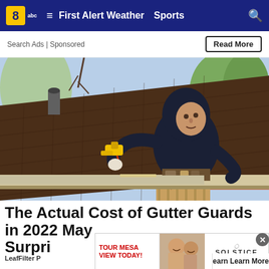8abc  ≡  First Alert Weather  Sports  🔍
Search Ads | Sponsored
Read More
[Figure (photo): A man in a dark hoodie working on gutter installation on a residential roof, holding a tool, with trees and a house in the background]
The Actual Cost of Gutter Guards in 2022 May Surpri
LeafFilter P
[Figure (photo): Bottom advertisement overlay showing Tour Mesa View Today and Solstice Senior Living with elderly people photo]
earn Learn More